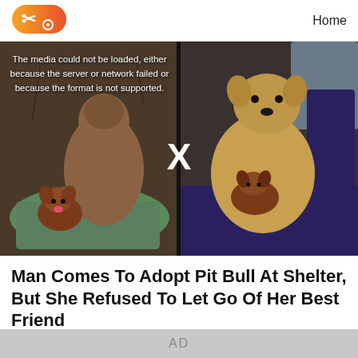[Figure (logo): Orange oval logo with scissors/X icon on the left side of header]
Home
[Figure (photo): Video player showing two dogs - a pit bull and a small chihuahua - side by side in dark frame. Left panel shows dogs on green blanket, right panel shows them in a vehicle. Media error overlay text reads: The media could not be loaded, either because the server or network failed or because the format is not supported. A white X is shown in the center divider area.]
Man Comes To Adopt Pit Bull At Shelter, But She Refused To Let Go Of Her Best Friend
0views • 2021/11/15
AD